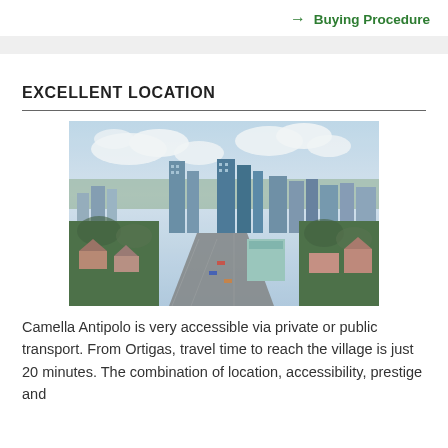→ Buying Procedure
EXCELLENT LOCATION
[Figure (photo): Aerial view of a city skyline with tall buildings, trees, and an elevated road/rail running through the middle foreground, likely Ortigas/Metro Manila area.]
Camella Antipolo is very accessible via private or public transport. From Ortigas, travel time to reach the village is just 20 minutes. The combination of location, accessibility, prestige and